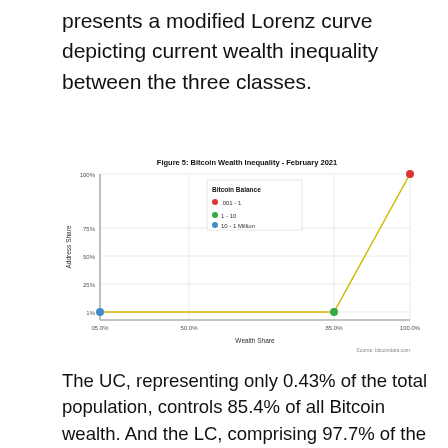presents a modified Lorenz curve depicting current wealth inequality between the three classes.
[Figure (scatter-plot): Modified Lorenz curve scatter plot showing Bitcoin wealth inequality. Blue point near (5%, 1%), green point near (85%, 1%), red point near (100%, 100%). Yellow lines connect the three points.]
Source: bitcoindata.com
The UC, representing only 0.43% of the total population, controls 85.4% of all Bitcoin wealth. And the LC, comprising 97.7% of the total addresses/wallets, holds 5.1% of all Bitcoin wealth.